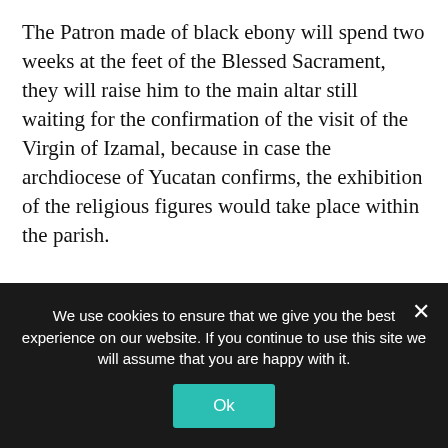The Patron made of black ebony will spend two weeks at the feet of the Blessed Sacrament, they will raise him to the main altar still waiting for the confirmation of the visit of the Virgin of Izamal, because in case the archdiocese of Yucatan confirms, the exhibition of the religious figures would take place within the parish.
Like last year, the patron saint festivities are limited, as is the entrance to the parish for the Campechanos and visitors to raise their prayers to the Patron Saint, with controlled access by personnel from the diocese of
We use cookies to ensure that we give you the best experience on our website. If you continue to use this site we will assume that you are happy with it.